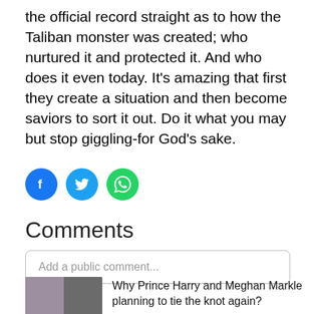the official record straight as to how the Taliban monster was created; who nurtured it and protected it. And who does it even today. It's amazing that first they create a situation and then become saviors to sort it out. Do it what you may but stop giggling-for God's sake.
[Figure (other): Social media share icons: Facebook (blue circle with f), Twitter (blue circle with bird), WhatsApp (green circle with phone/message icon)]
Comments
Add a public comment...
[Figure (photo): Thumbnail image showing Prince Harry, Meghan Markle, and Queen Elizabeth side by side]
Why Prince Harry and Meghan Markle planning to tie the knot again?